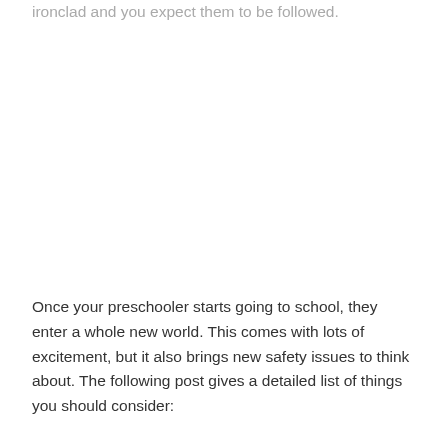ironclad and you expect them to be followed.
Once your preschooler starts going to school, they enter a whole new world. This comes with lots of excitement, but it also brings new safety issues to think about. The following post gives a detailed list of things you should consider: